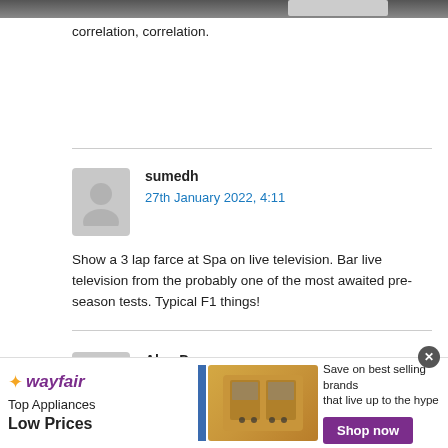[Figure (photo): Top banner image with dark background and a light-colored button/element on the right]
correlation, correlation.
sumedh
27th January 2022, 4:11
Show a 3 lap farce at Spa on live television. Bar live television from the probably one of the most awaited pre-season tests. Typical F1 things!
[Figure (illustration): User avatar placeholder - grey silhouette icon for Alan Dove]
Alan Dove
27th January 2022, 10:27
After the hit Liberty took in 2020 you really can't blame them for maximising profits at every avenue. If they can
[Figure (screenshot): Wayfair advertisement banner: Top Appliances Low Prices, Save on best selling brands that live up to the hype, Shop now button]